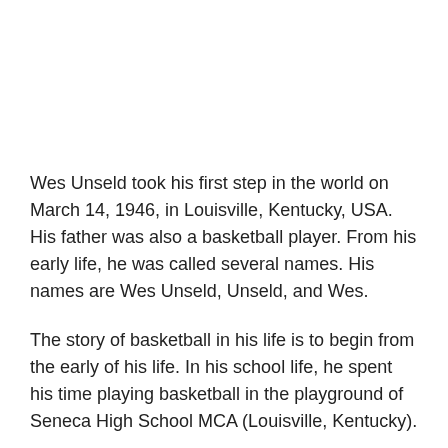Wes Unseld took his first step in the world on March 14, 1946, in Louisville, Kentucky, USA. His father was also a basketball player. From his early life, he was called several names. His names are Wes Unseld, Unseld, and Wes.
The story of basketball in his life is to begin from the early of his life. In his school life, he spent his time playing basketball in the playground of Seneca High School MCA (Louisville, Kentucky).
After finishing the school tenure, he moved to the